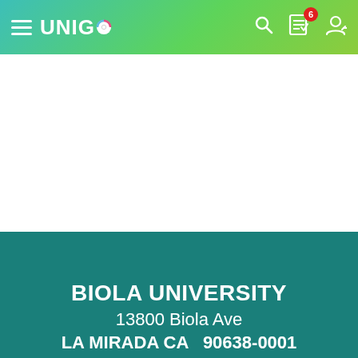UNIGO navigation bar with hamburger menu, Unigo logo, search icon, checklist icon with badge 6, and user icon
[Figure (screenshot): White blank content area, likely where a university photo or map would appear]
BIOLA UNIVERSITY
13800 Biola Ave
LA MIRADA CA  90638-0001